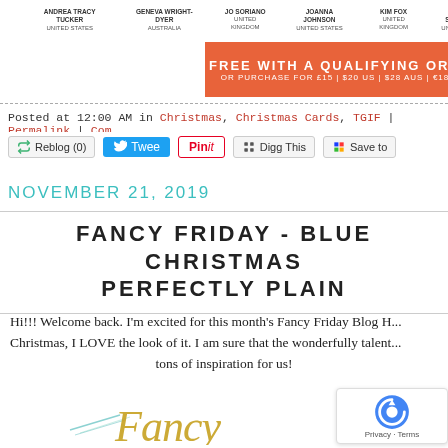[Figure (screenshot): Top banner with person names and orange strip reading 'FREE WITH A QUALIFYING ORDER OR PURCHASE FOR £15 | $20 US | $28 AUS | €18']
Posted at 12:00 AM in Christmas, Christmas Cards, TGIF | Permalink | Com
[Figure (screenshot): Social sharing buttons: Reblog (0), Tweet, Pin it, Digg This, Save to]
NOVEMBER 21, 2019
FANCY FRIDAY - BLUE CHRISTMAS PERFECTLY PLAIN
Hi!!! Welcome back. I'm excited for this month's Fancy Friday Blog H... Christmas, I LOVE the look of it. I am sure that the wonderfully talent... tons of inspiration for us!
[Figure (illustration): Fancy Friday decorative gold script text at bottom of page]